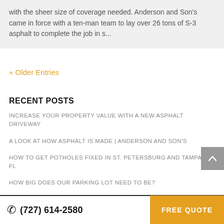with the sheer size of coverage needed. Anderson and Son's came in force with a ten-man team to lay over 26 tons of S-3 asphalt to complete the job in s...
« Older Entries
RECENT POSTS
INCREASE YOUR PROPERTY VALUE WITH A NEW ASPHALT DRIVEWAY
A LOOK AT HOW ASPHALT IS MADE | ANDERSON AND SON'S
HOW TO GET POTHOLES FIXED IN ST. PETERSBURG AND TAMPA, FL
HOW BIG DOES OUR PARKING LOT NEED TO BE?
(727) 614-2580   FREE QUOTE